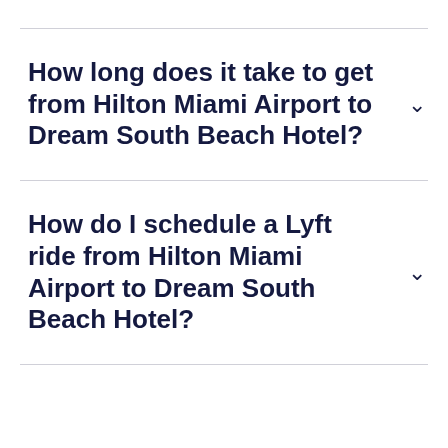How long does it take to get from Hilton Miami Airport to Dream South Beach Hotel?
How do I schedule a Lyft ride from Hilton Miami Airport to Dream South Beach Hotel?